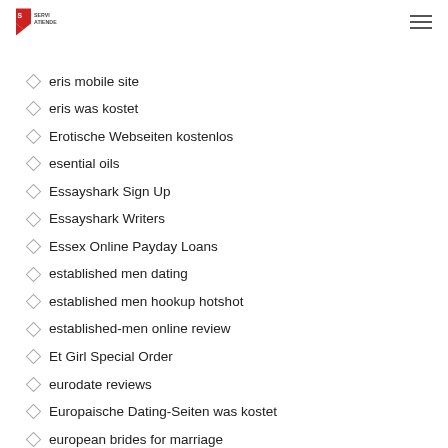SERVI ATIENDE
equipment loans for bad credit
eris mobile site
eris was kostet
Erotische Webseiten kostenlos
esential oils
Essayshark Sign Up
Essayshark Writers
Essex Online Payday Loans
established men dating
established men hookup hotshot
established-men online review
Et Girl Special Order
eurodate reviews
Europaische Dating-Seiten was kostet
european brides for marriage
european women for marriage
Examine The Site
express payday loan